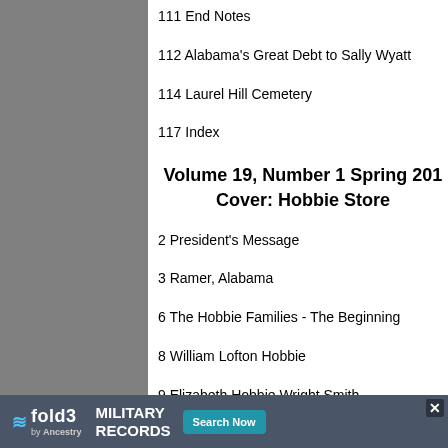111 End Notes
112 Alabama's Great Debt to Sally Wyatt
114 Laurel Hill Cemetery
117 Index
Volume 19, Number 1 Spring 2010
Cover: Hobbie Store
2 President's Message
3 Ramer, Alabama
6 The Hobbie Families - The Beginning
8 William Lofton Hobbie
9 Elizabeth Hobbie Wright Smith
[Figure (infographic): fold3 by Ancestry advertisement banner for military records with Search Now button]